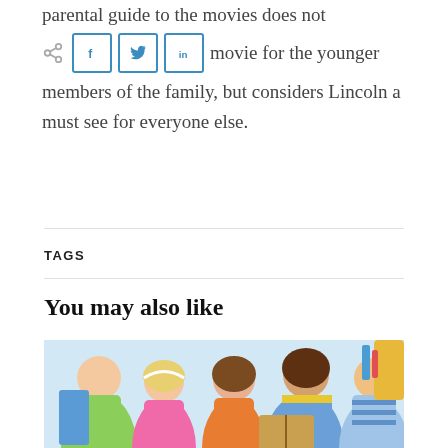parental guide to the movies does not recommend this movie for the younger members of the family, but considers Lincoln a must see for everyone else.
[Figure (infographic): Social share buttons: share icon, Facebook (f), Twitter (bird), LinkedIn (in)]
TAGS
You may also like
[Figure (photo): A teacher or adult woman reading a book with four young children gathered around her in a bright classroom setting.]